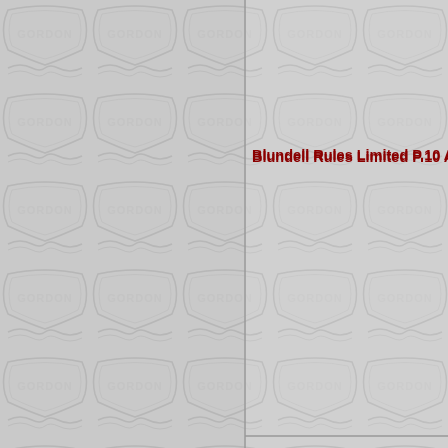[Figure (photo): Repeating embossed Gordon-branded tile pattern in light grey, forming the background of the entire page. The pattern shows interlocking shield/cartouche shapes with the word GORDON embossed in each tile row.]
Blundell Rules Limited P.10 Astralon Slide Ru
Blundell Rules Limited T.11 Astralon Slide Ru